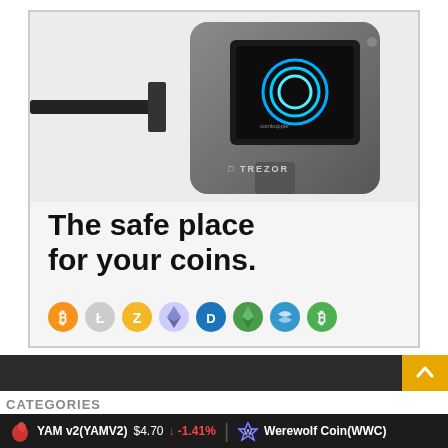[Figure (photo): Advertisement for Trezor hardware cryptocurrency wallet. Shows a Trezor device with a USB cable connected, displaying a circular logo on its OLED screen. Text reads 'The safe place for your coins.' with cryptocurrency coin icons (Bitcoin, Litecoin, Zcash, Ethereum, Dash, Ethereum Classic, and others) displayed below.]
CATEGORIES
YAM v2(YAMV2)  $4.70  ↓ -1.41%    Werewolf Coin(WWC)